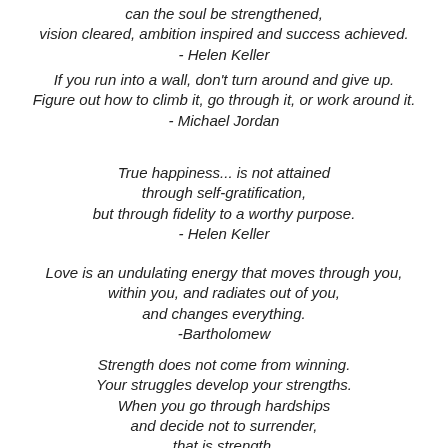can the soul be strengthened,
vision cleared, ambition inspired and success achieved.
- Helen Keller
If you run into a wall, don't turn around and give up. Figure out how to climb it, go through it, or work around it.
- Michael Jordan
True happiness... is not attained
through self-gratification,
but through fidelity to a worthy purpose.
- Helen Keller
Love is an undulating energy that moves through you,
within you, and radiates out of you,
and changes everything.
-Bartholomew
Strength does not come from winning.
Your struggles develop your strengths.
When you go through hardships
and decide not to surrender,
that is strength.
- Mohandas (Mahatma) Gandhi